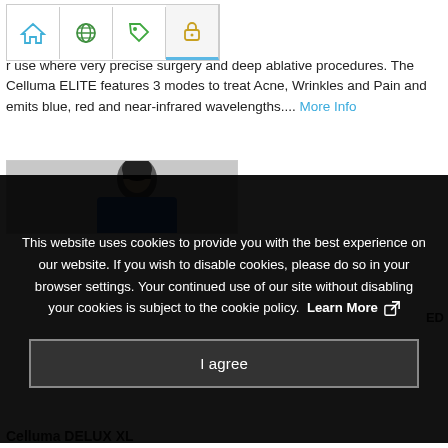[Figure (screenshot): Navigation bar with icons: home, globe/earth, tag/price, lock/security, and a highlighted/active tab]
r use where very precise surgery and deep ablative procedures. The Celluma ELITE features 3 modes to treat Acne, Wrinkles and Pain and emits blue, red and near-infrared wavelengths.... More Info
[Figure (photo): Partial photo of a woman with dark hair against a light gray background, cropped at bottom]
This website uses cookies to provide you with the best experience on our website. If you wish to disable cookies, please do so in your browser settings. Your continued use of our site without disabling your cookies is subject to the cookie policy. Learn More
I agree
Celluma DELUX XL